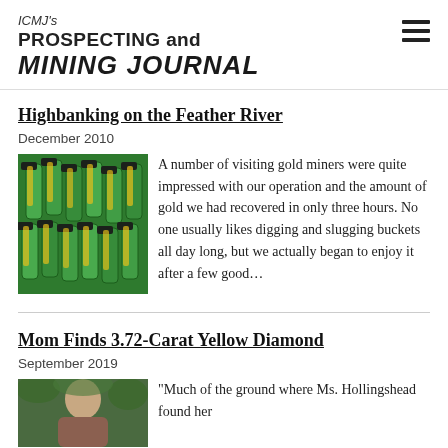ICMJ's PROSPECTING and MINING JOURNAL
Highbanking on the Feather River
December 2010
[Figure (photo): Multiple green vials/tubes filled with gold flakes, arranged on a green surface]
A number of visiting gold miners were quite impressed with our operation and the amount of gold we had recovered in only three hours. No one usually likes digging and slugging buckets all day long, but we actually began to enjoy it after a few good...
Mom Finds 3.72-Carat Yellow Diamond
September 2019
[Figure (photo): A woman photographed outdoors with green foliage in the background]
“Much of the ground where Ms. Hollingshead found her